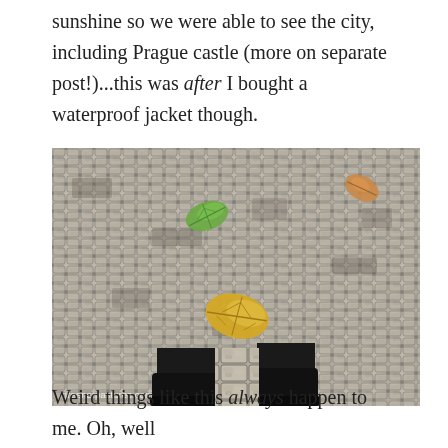sunshine so we were able to see the city, including Prague castle (more on separate post!)...this was after I bought a waterproof jacket though.
[Figure (photo): Overhead view looking down at cobblestone street with autumn leaves (green and yellow/orange) and two black boots/legs visible at the bottom center. A watermark reads 'greenerpastures.com' at the bottom left.]
Weird things like this always happen to me. Oh, well